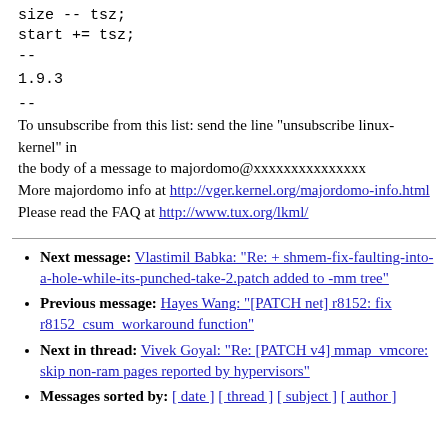size -- tsz;
start += tsz;
--
1.9.3
--
To unsubscribe from this list: send the line "unsubscribe linux-kernel" in
the body of a message to majordomo@xxxxxxxxxxxxxxx
More majordomo info at http://vger.kernel.org/majordomo-info.html
Please read the FAQ at http://www.tux.org/lkml/
Next message: Vlastimil Babka: "Re: + shmem-fix-faulting-into-a-hole-while-its-punched-take-2.patch added to -mm tree"
Previous message: Hayes Wang: "[PATCH net] r8152: fix r8152_csum_workaround function"
Next in thread: Vivek Goyal: "Re: [PATCH v4] mmap_vmcore: skip non-ram pages reported by hypervisors"
Messages sorted by: [ date ] [ thread ] [ subject ] [ author ]